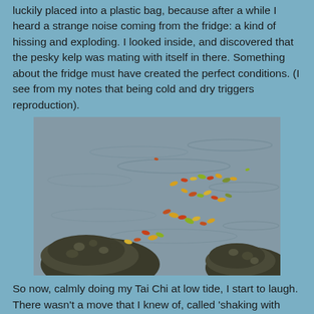luckily placed into a plastic bag, because after a while I heard a strange noise coming from the fridge: a kind of hissing and exploding. I looked inside, and discovered that the pesky kelp was mating with itself in there. Something about the fridge must have created the perfect conditions. (I see from my notes that being cold and dry triggers reproduction).
[Figure (photo): A photograph of a tidal or shallow coastal water scene. Small colorful oval-shaped objects (possibly kelp spores or small marine creatures) are scattered in a curved trail across the water surface. Two dark rocky or seaweed-covered mounds are visible at the lower left and lower right of the image.]
So now, calmly doing my Tai Chi at low tide, I start to laugh. There wasn't a move that I knew of, called 'shaking with laughter', or 'smiling fit to burst', but there is now. I'm afraid